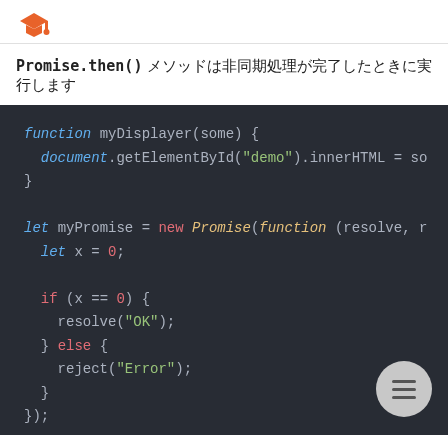[graduation cap logo]
Promise.then() メソッドは非同期処理が完了したときに実行します
[Figure (screenshot): Dark-themed code editor screenshot showing JavaScript Promise code with syntax highlighting. Code includes: function myDisplayer(some) { document.getElementById("demo").innerHTML = so } let myPromise = new Promise(function (resolve, r let x = 0; if (x == 0) { resolve("OK"); } else { reject("Error"); } });]